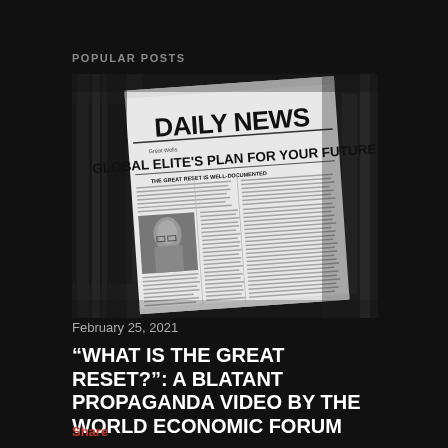POPULAR POSTS
[Figure (photo): Black and white newspaper front page reading 'DAILY NEWS' with headline 'GLOBAL ELITE'S PLAN FOR YOUR FUTURE', featuring a photo of an older man, printed in a style evoking a tabloid newspaper. Background shows printing press machinery.]
February 25, 2021
“WHAT IS THE GREAT RESET?”: A BLATANT PROPAGANDA VIDEO BY THE WORLD ECONOMIC FORUM
Share